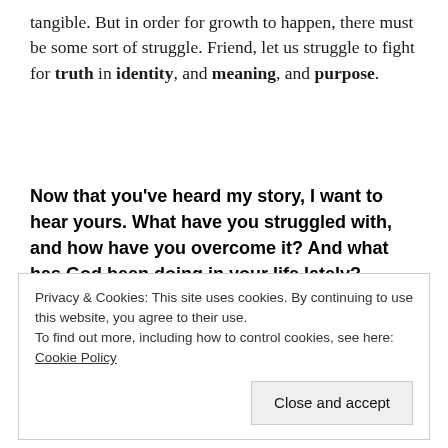tangible. But in order for growth to happen, there must be some sort of struggle. Friend, let us struggle to fight for truth in identity, and meaning, and purpose.
Now that you've heard my story, I want to hear yours. What have you struggled with, and how have you overcome it? And what has God been doing in your life lately?
Privacy & Cookies: This site uses cookies. By continuing to use this website, you agree to their use.
To find out more, including how to control cookies, see here: Cookie Policy